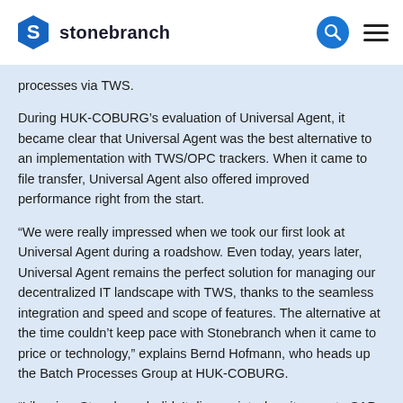stonebranch
processes via TWS.
During HUK-COBURG’s evaluation of Universal Agent, it became clear that Universal Agent was the best alternative to an implementation with TWS/OPC trackers. When it came to file transfer, Universal Agent also offered improved performance right from the start.
“We were really impressed when we took our first look at Universal Agent during a roadshow. Even today, years later, Universal Agent remains the perfect solution for managing our decentralized IT landscape with TWS, thanks to the seamless integration and speed and scope of features. The alternative at the time couldn’t keep pace with Stonebranch when it came to price or technology,” explains Bernd Hofmann, who heads up the Batch Processes Group at HUK-COBURG.
“Likewise, Stonebranch didn’t disappoint when it came to SAP